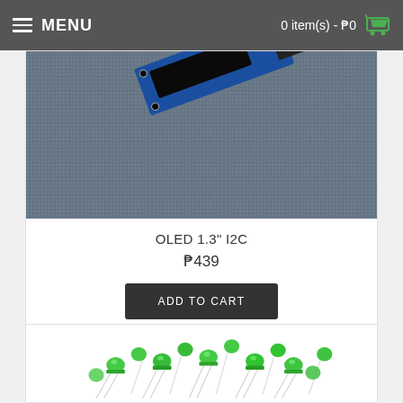MENU   0 item(s) - ₱0
[Figure (photo): OLED 1.3 inch I2C module on dark background, blue PCB with connector]
OLED 1.3" I2C
₱439
ADD TO CART
[Figure (photo): Pile of green 3mm LEDs with metal leads on white background]